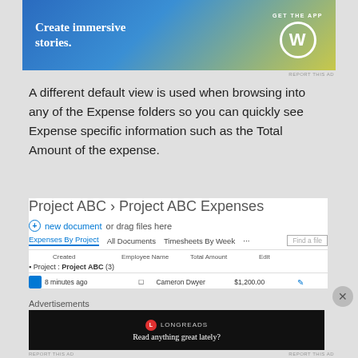[Figure (screenshot): WordPress advertisement banner: 'Create immersive stories. GET THE APP' with WordPress logo]
A different default view is used when browsing into any of the Expense folders so you can quickly see Expense specific information such as the Total Amount of the expense.
[Figure (screenshot): SharePoint screenshot showing 'Project ABC > Project ABC Expenses' with document library view including columns: Created, Employee Name, Total Amount, Edit. A group row shows 'Project : Project ABC (3)' with one data row: 8 minutes ago, Cameron Dwyer, $1,200.00]
Advertisements
[Figure (screenshot): Longreads advertisement: dark background with Longreads logo and text 'Read anything great lately?']